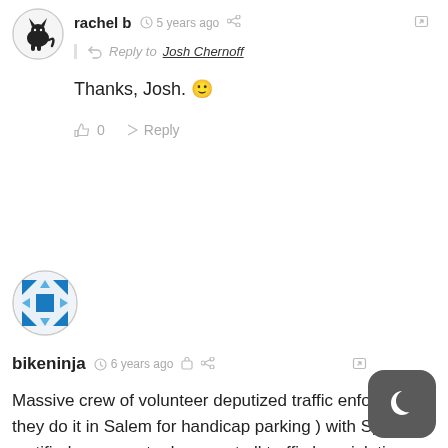[Figure (illustration): User avatar: black cat silhouette in a circular border]
rachel b  5 years ago
Reply to Josh Chernoff
Thanks, Josh. 🙂
0   Reply
[Figure (illustration): User avatar: blue and white geometric/quilt pattern in a circular border]
bikeninja  6 years ago
Massive crew of volunteer deputized traffic enforcers ( they do it in Salem for handicap parking ) with Special certified cameras to document all traffic law violations. Mail tickets to scoflaws. Take license of repeat offenders. Crush cars of no license drivers. Goal: Get 25% of the drivers off the street. Time to get tough with this army of dangerous auto